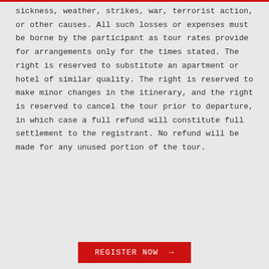sickness, weather, strikes, war, terrorist action, or other causes. All such losses or expenses must be borne by the participant as tour rates provide for arrangements only for the times stated. The right is reserved to substitute an apartment or hotel of similar quality. The right is reserved to make minor changes in the itinerary, and the right is reserved to cancel the tour prior to departure, in which case a full refund will constitute full settlement to the registrant. No refund will be made for any unused portion of the tour.
REGISTER NOW →